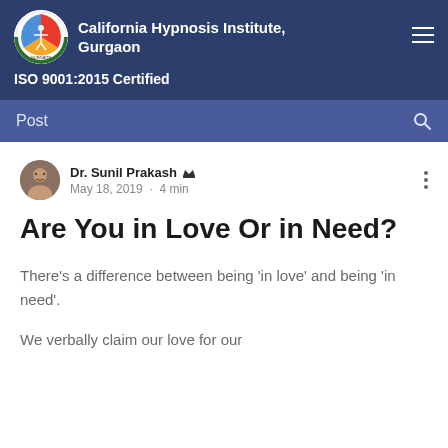California Hypnosis Institute, Gurgaon
ISO 9001:2015 Certified
Post
Dr. Sunil Prakash
May 18, 2019 · 4 min
Are You in Love Or in Need?
There’s a difference between being ‘in love’ and being ‘in need’.
We verbally claim our love for our